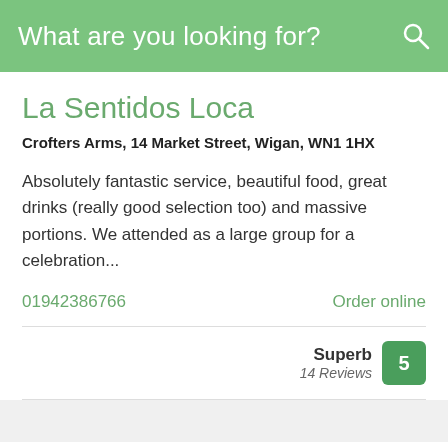What are you looking for?
La Sentidos Loca
Crofters Arms, 14 Market Street, Wigan, WN1 1HX
Absolutely fantastic service, beautiful food, great drinks (really good selection too) and massive portions. We attended as a large group for a celebration...
01942386766
Order online
Superb
14 Reviews
5
BAR